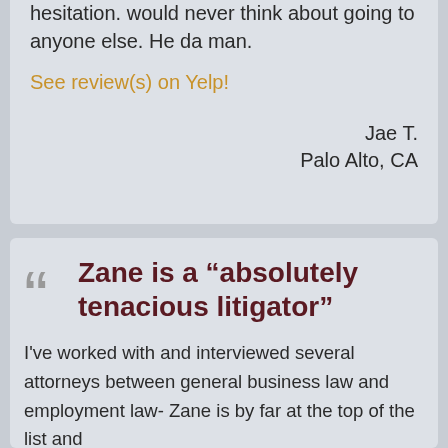hesitation. would never think about going to anyone else. He da man.
See review(s) on Yelp!
Jae T.
Palo Alto, CA
Zane is a “absolutely tenacious litigator”
I've worked with and interviewed several attorneys between general business law and employment law- Zane is by far at the top of the list and